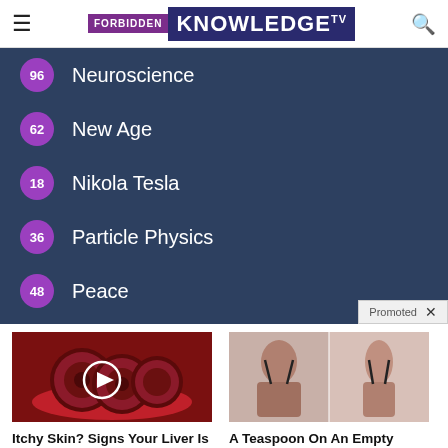FORBIDDEN KNOWLEDGE TV
96 Neuroscience
62 New Age
18 Nikola Tesla
36 Particle Physics
48 Peace
Promoted
[Figure (photo): Advertisement image showing sliced beets on a red plate with a video play button overlay]
Itchy Skin? Signs Your Liver Is In Trouble
Watch The Video
[Figure (photo): Advertisement image showing before and after weight loss comparison of a woman's back]
A Teaspoon On An Empty Stomach Burns 12 Lbs Of Fat A Week Safely!
Find Out More